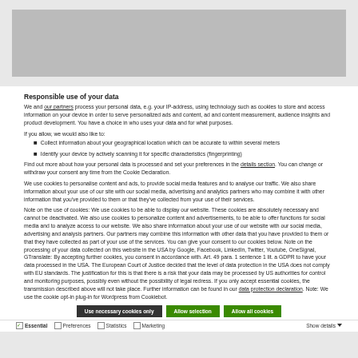[Figure (other): Gray banner/header image area at top of cookie consent dialog]
Responsible use of your data
We and our partners process your personal data, e.g. your IP-address, using technology such as cookies to store and access information on your device in order to serve personalized ads and content, ad and content measurement, audience insights and product development. You have a choice in who uses your data and for what purposes.
If you allow, we would also like to:
Collect information about your geographical location which can be accurate to within several meters
Identify your device by actively scanning it for specific characteristics (fingerprinting)
Find out more about how your personal data is processed and set your preferences in the details section. You can change or withdraw your consent any time from the Cookie Declaration.
We use cookies to personalise content and ads, to provide social media features and to analyse our traffic. We also share information about your use of our site with our social media, advertising and analytics partners who may combine it with other information that you've provided to them or that they've collected from your use of their services.
Note on the use of cookies: We use cookies to be able to display our website. These cookies are absolutely necessary and cannot be deactivated. We also use cookies to personalize content and advertisements, to be able to offer functions for social media and to analyze access to our website. We also share information about your use of our website with our social media, advertising and analysis partners. Our partners may combine this information with other data that you have provided to them or that they have collected as part of your use of the services. You can give your consent to our cookies below. Note on the processing of your data collected on this website in the USA by Google, Facebook, LinkedIn, Twitter, Youtube, OneSignal, GTranslate: By accepting further cookies, you consent in accordance with. Art. 49 para. 1 sentence 1 lit. a GDPR to have your data processed in the USA. The European Court of Justice decided that the level of data protection in the USA does not comply with EU standards. The justification for this is that there is a risk that your data may be processed by US authorities for control and monitoring purposes, possibly even without the possibility of legal redress. If you only accept essential cookies, the transmission described above will not take place. Further information can be found in our data protection declaration. Note: We use the cookie opt-in plug-in for Wordpress from Cookiebot.